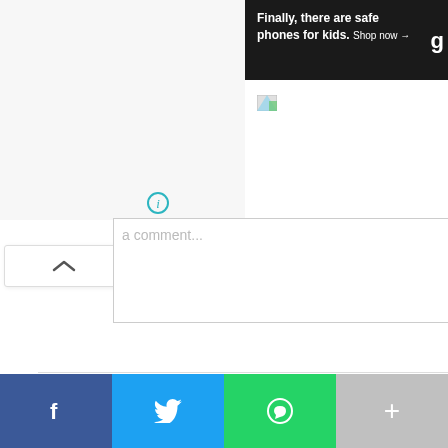[Figure (screenshot): Ad banner with dark background: 'Finally, there are safe phones for kids. Shop now →']
[Figure (screenshot): Broken image placeholder icon]
[Figure (screenshot): Information (i) circle icon in teal/cyan]
[Figure (screenshot): Comment text area with placeholder text 'a comment...' and collapse/chevron button]
Facebook Comments Plugin
SHARE ON
[Figure (screenshot): Share buttons: Facebook Share 0, Like 0, Tweet]
[Figure (screenshot): Bottom social sharing bar with Facebook, Twitter, WhatsApp, and More buttons]